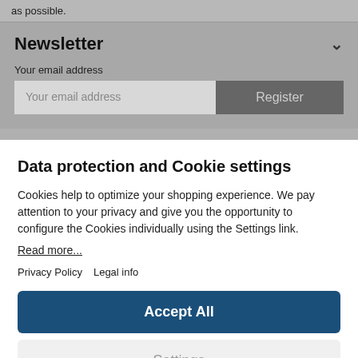as possible.
Newsletter
Your email address
Your email address
Register
Data protection and Cookie settings
Cookies help to optimize your shopping experience. We pay attention to your privacy and give you the opportunity to configure the Cookies individually using the Settings link.
Read more...
Privacy Policy   Legal info
Accept All
Settings
Powered by Usercentrics Consent Management